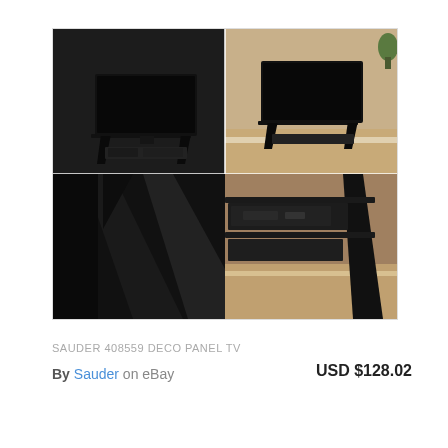[Figure (photo): 2x2 grid of product photos showing a black Sauder 408559 Deco Panel TV stand. Top-left: front view of stand with TV on white/dark background. Top-right: stand with TV in room setting with warm wood floor. Bottom-left: close-up of the stand's diagonal black frame legs. Bottom-right: close-up of shelves in room setting.]
SAUDER 408559 DECO PANEL TV
By Sauder on eBay    USD $128.02